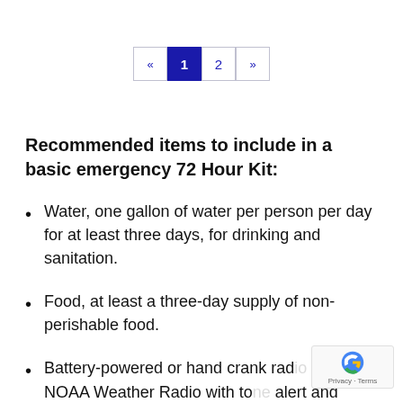[Figure (other): Pagination control showing « 1 2 » buttons, with 1 active (dark blue background)]
Recommended items to include in a basic emergency 72 Hour Kit:
Water, one gallon of water per person per day for at least three days, for drinking and sanitation.
Food, at least a three-day supply of non-perishable food.
Battery-powered or hand crank radio and a NOAA Weather Radio with tone alert and extra batteries for both.